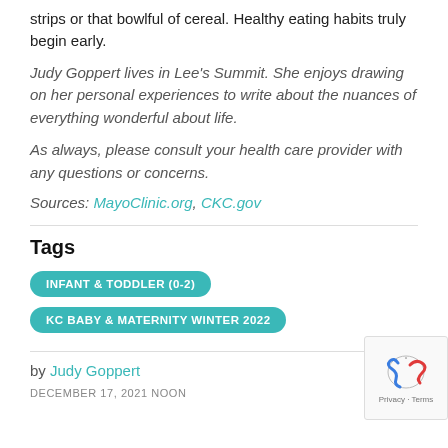strips or that bowlful of cereal. Healthy eating habits truly begin early.
Judy Goppert lives in Lee's Summit. She enjoys drawing on her personal experiences to write about the nuances of everything wonderful about life.
As always, please consult your health care provider with any questions or concerns.
Sources: MayoClinic.org, CKC.gov
Tags
INFANT & TODDLER (0-2)
KC BABY & MATERNITY WINTER 2022
by Judy Goppert
DECEMBER 17, 2021 NOON